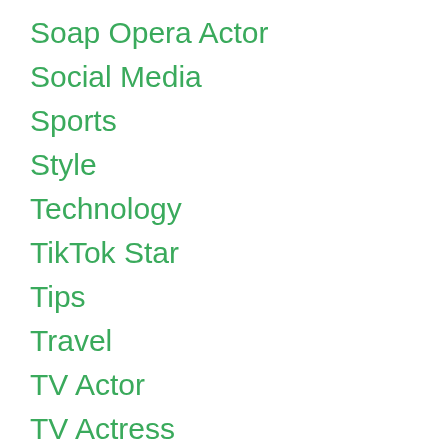Soap Opera Actor
Social Media
Sports
Style
Technology
TikTok Star
Tips
Travel
TV Actor
TV Actress
Twitch Star
Uncategorized
YouTube Star